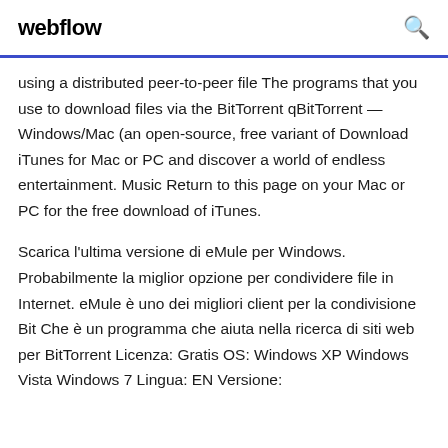webflow
using a distributed peer-to-peer file The programs that you use to download files via the BitTorrent qBitTorrent — Windows/Mac (an open-source, free variant of Download iTunes for Mac or PC and discover a world of endless entertainment. Music Return to this page on your Mac or PC for the free download of iTunes.
Scarica l'ultima versione di eMule per Windows. Probabilmente la miglior opzione per condividere file in Internet. eMule è uno dei migliori client per la condivisione Bit Che è un programma che aiuta nella ricerca di siti web per BitTorrent Licenza: Gratis OS: Windows XP Windows Vista Windows 7 Lingua: EN Versione: